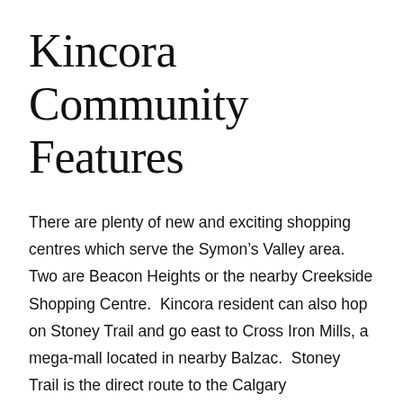Kincora Community Features
There are plenty of new and exciting shopping centres which serve the Symon’s Valley area.  Two are Beacon Heights or the nearby Creekside Shopping Centre.  Kincora resident can also hop on Stoney Trail and go east to Cross Iron Mills, a mega-mall located in nearby Balzac.  Stoney Trail is the direct route to the Calgary International Airport, less than 15 minutes away.
As a newer suburban neighbourhood, students attend established schools in adjacent communities.